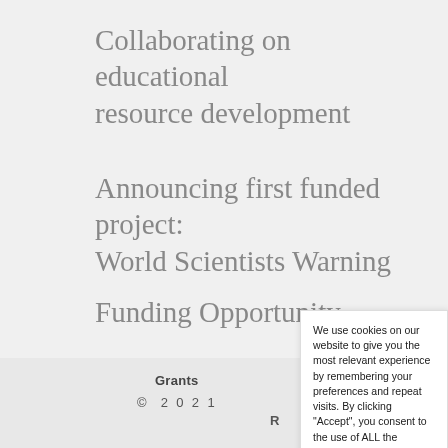Collaborating on educational resource development
Announcing first funded project: World Scientists Warning
Funding Opportunity
Come on
We use cookies on our website to give you the most relevant experience by remembering your preferences and repeat visits. By clicking “Accept”, you consent to the use of ALL the cookies.
Cookie settings  ACCEPT
Grants
© 2 0 2 1
R